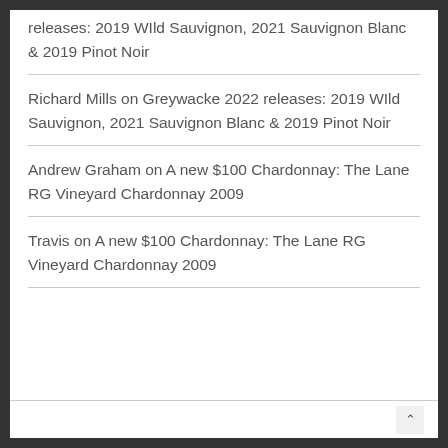releases: 2019 WIld Sauvignon, 2021 Sauvignon Blanc & 2019 Pinot Noir
Richard Mills on Greywacke 2022 releases: 2019 WIld Sauvignon, 2021 Sauvignon Blanc & 2019 Pinot Noir
Andrew Graham on A new $100 Chardonnay: The Lane RG Vineyard Chardonnay 2009
Travis on A new $100 Chardonnay: The Lane RG Vineyard Chardonnay 2009